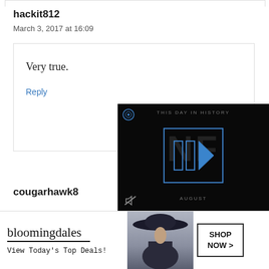hackit812
March 3, 2017 at 16:09
Very true.
Reply
cougarhawk8
[Figure (screenshot): Dark video player overlay showing 'THIS DAY IN HISTORY' with a blue play button icon and 'AUGUST' label, mute icon visible at bottom left]
[Figure (screenshot): Bloomingdale's advertisement banner: 'bloomingdales' logo with 'View Today's Top Deals!' tagline, photo of woman in large hat, 'SHOP NOW >' button, and close X button]